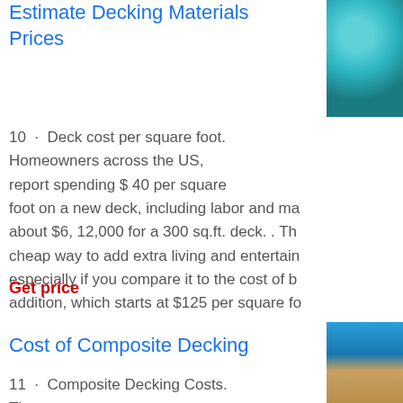Estimate Decking Materials Prices
[Figure (photo): Photo of a pool area with teal water and thatched roof structure]
10 · Deck cost per square foot. Homeowners across the US, report spending $ 40 per square foot on a new deck, including labor and ma... about $6, 12,000 for a 300 sq.ft. deck. . Th... cheap way to add extra living and entertain... especially if you compare it to the cost of b... addition, which starts at $125 per square fo...
Get price
Cost of Composite Decking
[Figure (photo): Photo of composite decking beside a pool]
11 · Composite Decking Costs. The...